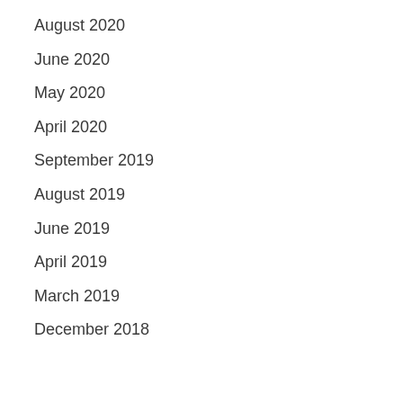August 2020
June 2020
May 2020
April 2020
September 2019
August 2019
June 2019
April 2019
March 2019
December 2018